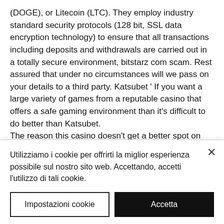(DOGE), or Litecoin (LTC). They employ industry standard security protocols (128 bit, SSL data encryption technology) to ensure that all transactions including deposits and withdrawals are carried out in a totally secure environment, bitstarz com scam. Rest assured that under no circumstances will we pass on your details to a third party. Katsubet ' If you want a large variety of games from a reputable casino that offers a safe gaming environment than it's difficult to do better than Katsubet. The reason this casino doesn't get a better spot on the list is because of their lack of bonuses, as BitCasino focuses entirely on
Utilizziamo i cookie per offrirti la miglior esperienza possibile sul nostro sito web. Accettando, accetti l'utilizzo di tali cookie.